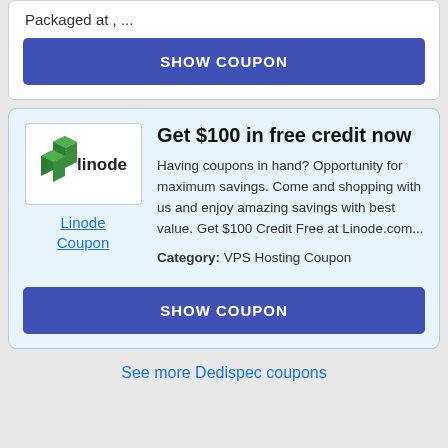Packaged at , ...
SHOW COUPON
Get $100 in free credit now
[Figure (logo): Linode logo — green stacked blocks with the word 'linode' in dark text]
Linode Coupon
Having coupons in hand? Opportunity for maximum savings. Come and shopping with us and enjoy amazing savings with best value. Get $100 Credit Free at Linode.com...
Category: VPS Hosting Coupon
SHOW COUPON
See more Dedispec coupons